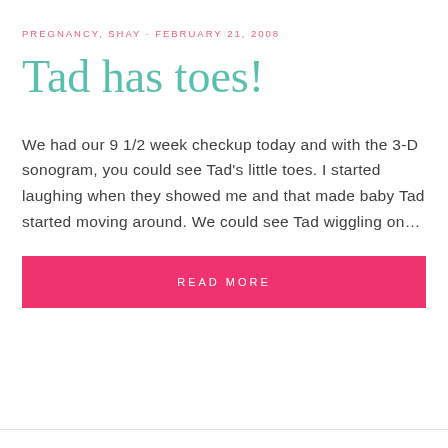PREGNANCY, SHAY · FEBRUARY 21, 2008
Tad has toes!
We had our 9 1/2 week checkup today and with the 3-D sonogram, you could see Tad's little toes. I started laughing when they showed me and that made baby Tad started moving around. We could see Tad wiggling on…
READ MORE